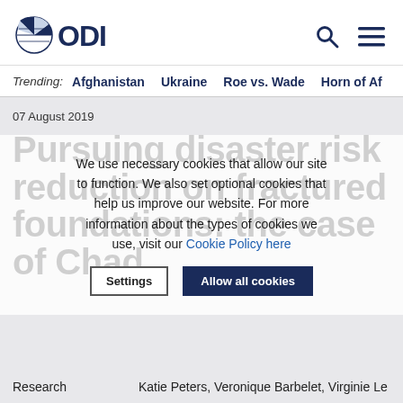[Figure (logo): ODI logo — globe/fan icon on left, letters ODI in dark navy]
Trending: Afghanistan   Ukraine   Roe vs. Wade   Horn of Af...
07 August 2019
Pursuing disaster risk reduction on fractured foundations: the case of Chad
We use necessary cookies that allow our site to function. We also set optional cookies that help us improve our website. For more information about the types of cookies we use, visit our Cookie Policy here
Research   Katie Peters, Veronique Barbelet, Virginie Le...